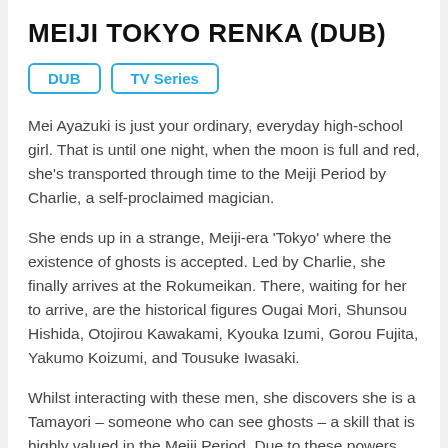MEIJI TOKYO RENKA (DUB)
DUB
TV Series
Mei Ayazuki is just your ordinary, everyday high-school girl. That is until one night, when the moon is full and red, she's transported through time to the Meiji Period by Charlie, a self-proclaimed magician.
She ends up in a strange, Meiji-era 'Tokyo' where the existence of ghosts is accepted. Led by Charlie, she finally arrives at the Rokumeikan. There, waiting for her to arrive, are the historical figures Ougai Mori, Shunsou Hishida, Otojirou Kawakami, Kyouka Izumi, Gorou Fujita, Yakumo Koizumi, and Tousuke Iwasaki.
Whilst interacting with these men, she discovers she is a Tamayori – someone who can see ghosts – a skill that is highly valued in the Meiji Period. Due to these powers, her relationship with the men begins to change… As she gets to know these handsome men in a new era she just can't get used to, a love begins to grow within her.